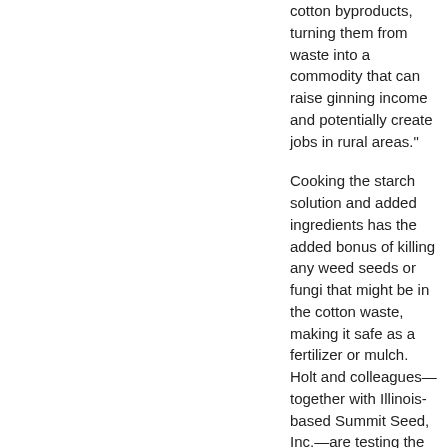cotton byproducts, turning them from waste into a commodity that can raise ginning income and potentially create jobs in rural areas."
Cooking the starch solution and added ingredients has the added bonus of killing any weed seeds or fungi that might be in the cotton waste, making it safe as a fertilizer or mulch. Holt and colleagues—together with Illinois-based Summit Seed, Inc.—are testing the cotton-byproducts mulch on flower beds in Illinois, at a local university's test facility. The seed company is interested in working with ARS to commercialize the mulch and fertilizer pellets.
Insta-Pro International, a division of Triple "F," Inc., of Des Moines, Iowa, a